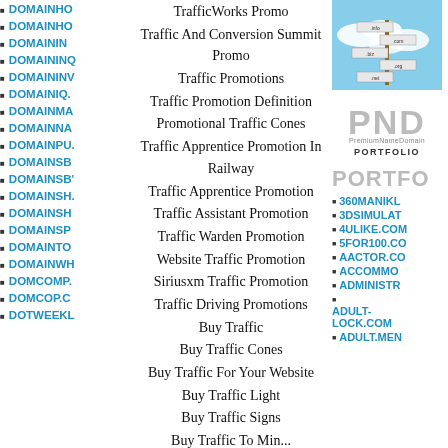DOMAINHO
DOMAINHO
DOMAINNI
DOMAINQ
DOMAININV
DOMAINIQ
DOMAINMA
DOMAINNA
DOMAINPU
DOMAINSB
DOMAINSB
DOMAINSH
DOMAINSH
DOMAINSP
DOMAINTO
DOMAINWH
DOMCOMP.
DOMCOP.CO
DOTWEEKL
TrafficWorks Promo
Traffic And Conversion Summit Promo
Traffic Promotions
Traffic Promotion Definition
Promotional Traffic Cones
Traffic Apprentice Promotion In Railway
Traffic Apprentice Promotion
Traffic Assistant Promotion
Traffic Warden Promotion
Website Traffic Promotion
Siriusxm Traffic Promotion
Traffic Driving Promotions
Buy Traffic
Buy Traffic Cones
Buy Traffic For Your Website
Buy Traffic Light
Buy Traffic Signs
[Figure (photo): Sky with cloud and signpost showing domain extensions]
[Figure (logo): PND PremiumNameDomain PORTFOLIO logo]
PORTFO
360MANIKL
3DSIMULAT
4ULIKE.COM
5FOR100.CO
AACTOR.CO
ACCOMMO
ADMINISTR
ADULT-LOCK.COM
ADULT.MEN